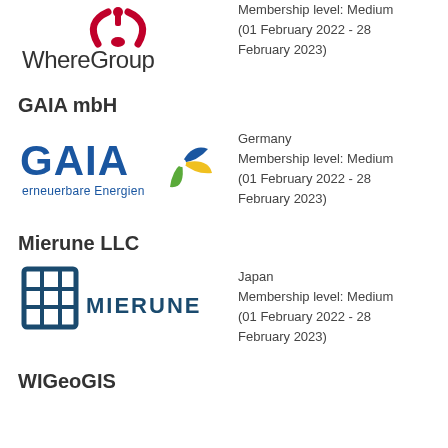[Figure (logo): WhereGroup logo with red arc/antenna icon and 'WhereGroup' text]
Membership level: Medium (01 February 2022 - 28 February 2023)
GAIA mbH
[Figure (logo): GAIA erneuerbare Energien logo with blue text and colorful pinwheel icon]
Germany
Membership level: Medium
(01 February 2022 - 28 February 2023)
Mierune LLC
[Figure (logo): MIERUNE logo with dark teal grid/building icon and 'MIERUNE' text]
Japan
Membership level: Medium
(01 February 2022 - 28 February 2023)
WIGeoGIS